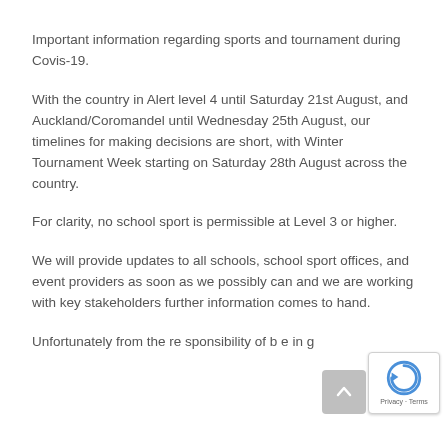Important information regarding sports and tournament during Covis-19.
With the country in Alert level 4 until Saturday 21st August, and Auckland/Coromandel until Wednesday 25th August, our timelines for making decisions are short, with Winter Tournament Week starting on Saturday 28th August across the country.
For clarity, no school sport is permissible at Level 3 or higher.
We will provide updates to all schools, school sport offices, and event providers as soon as we possibly can and we are working with key stakeholders further information comes to hand.
Unfortunate ly from the re sponsibility of b e in g...